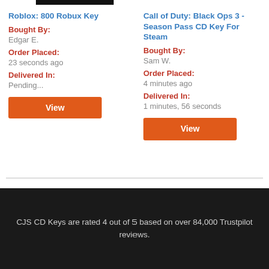Roblox: 800 Robux Key
Bought By:
Edgar E.
Order Placed:
23 seconds ago
Delivered In:
Pending...
Call of Duty: Black Ops 3 - Season Pass CD Key For Steam
Bought By:
Sam W.
Order Placed:
4 minutes ago
Delivered In:
1 minutes, 56 seconds
CJS CD Keys are rated 4 out of 5 based on over 84,000 Trustpilot reviews.